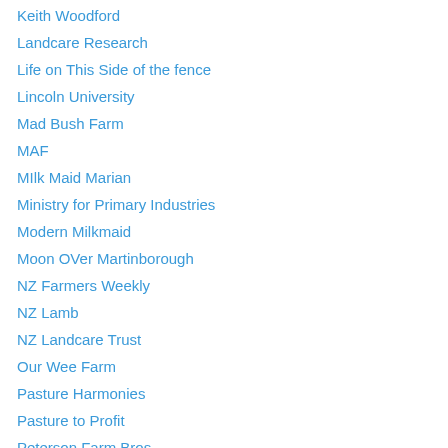Keith Woodford
Landcare Research
Life on This Side of the fence
Lincoln University
Mad Bush Farm
MAF
MIlk Maid Marian
Ministry for Primary Industries
Modern Milkmaid
Moon OVer Martinborough
NZ Farmers Weekly
NZ Lamb
NZ Landcare Trust
Our Wee Farm
Pasture Harmonies
Pasture to Profit
Peterson Farm Bros
Plant & Food
QEII National Trust
Rural Network